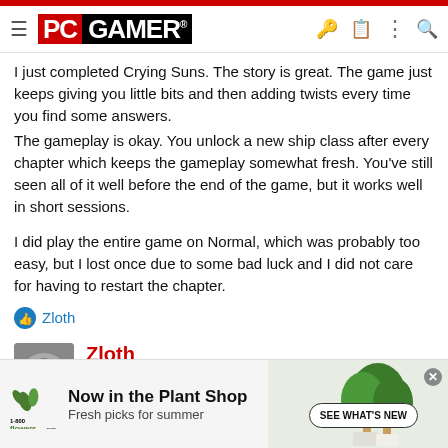PC GAMER
I just completed Crying Suns. The story is great. The game just keeps giving you little bits and then adding twists every time you find some answers.
The gameplay is okay. You unlock a new ship class after every chapter which keeps the gameplay somewhat fresh. You've still seen all of it well before the end of the game, but it works well in short sessions.
I did play the entire game on Normal, which was probably too easy, but I lost once due to some bad luck and I did not care for having to restart the chapter.
Zloth
Zloth
Community Contributor
[Figure (screenshot): 1-800-Flowers advertisement banner with plant shop promotion and 'SEE WHAT'S NEW' call to action button]